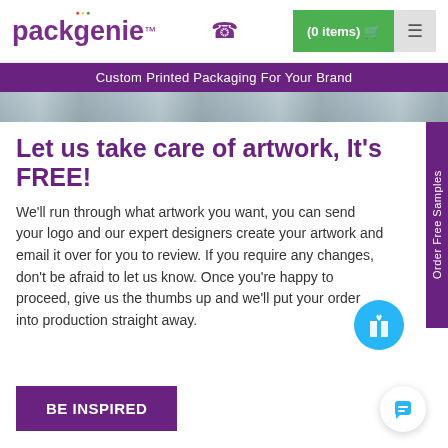packgenie™  (0 items)  ≡
Custom Printed Packaging For Your Brand
[Figure (photo): Close-up photo of printed packaging rolls or materials, partially visible]
Let us take care of artwork, It's FREE!
We'll run through what artwork you want, you can send your logo and our expert designers create your artwork and email it over for you to review. If you require any changes, don't be afraid to let us know. Once you're happy to proceed, give us the thumbs up and we'll put your order into production straight away.
BE INSPIRED